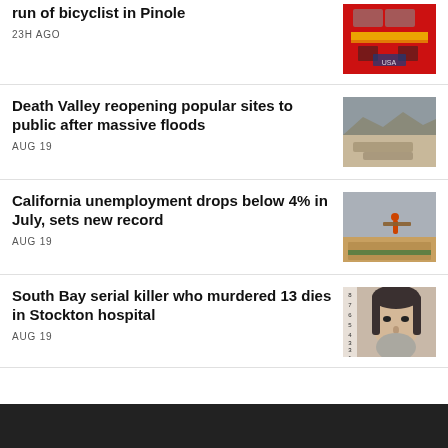run of bicyclist in Pinole
23H AGO
Death Valley reopening popular sites to public after massive floods
AUG 19
California unemployment drops below 4% in July, sets new record
AUG 19
South Bay serial killer who murdered 13 dies in Stockton hospital
AUG 19